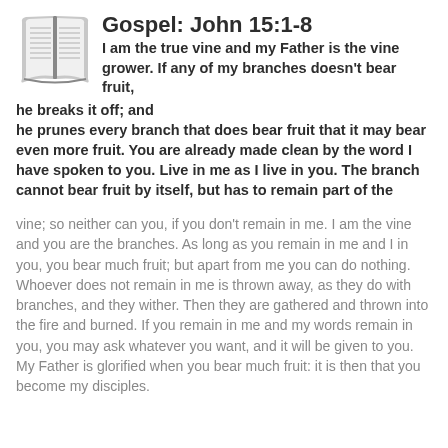[Figure (illustration): Open book icon illustration]
Gospel: John 15:1-8
I am the true vine and my Father is the vine grower. If any of my branches doesn’t bear fruit, he breaks it off; and he prunes every branch that does bear fruit that it may bear even more fruit. You are already made clean by the word I have spoken to you. Live in me as I live in you. The branch cannot bear fruit by itself, but has to remain part of the
vine; so neither can you, if you don’t remain in me. I am the vine and you are the branches. As long as you remain in me and I in you, you bear much fruit; but apart from me you can do nothing. Whoever does not remain in me is thrown away, as they do with branches, and they wither. Then they are gathered and thrown into the fire and burned. If you remain in me and my words remain in you, you may ask whatever you want, and it will be given to you. My Father is glorified when you bear much fruit: it is then that you become my disciples.